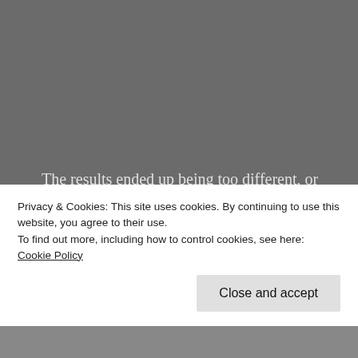The results ended up being too different, or as Dickinson would later say, "I learned an awful lot about what I didn't want to do out of that record." In 1993 Dickinson left Maiden and also ditched his second solo album attempt. Having turned too far away from his heavy metal roots, the singer started a third attempt, this time co-writing the songs with guitarist Roy Z, a talented player and composer that Dickinson had met during the
Privacy & Cookies: This site uses cookies. By continuing to use this website, you agree to their use.
To find out more, including how to control cookies, see here: Cookie Policy